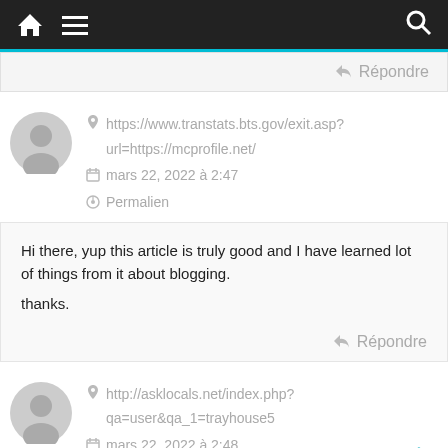Navigation bar with home, menu, and search icons
Répondre
https://www.transtats.bts.gov/exit.asp?url=https://mcprofile.net/
mars 22, 2022 à 2:47
Permalien
Hi there, yup this article is truly good and I have learned lot of things from it about blogging.
thanks.
Répondre
http://asklocals.net/index.php?qa=user&qa_1=trayhouse5
mars 22, 2022 à 2:48
Permalien